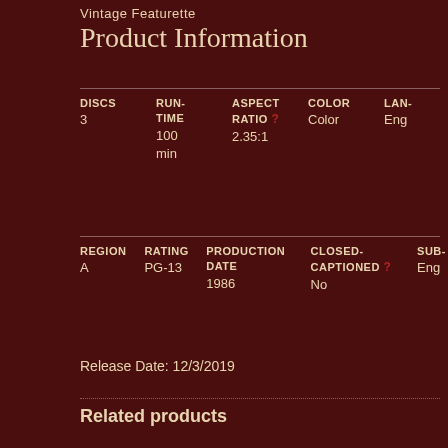Vintage Featurette
Product Information
| DISCS | RUN-TIME | ASPECT RATIO | COLOR | LAN- |
| --- | --- | --- | --- | --- |
| 3 | 100 min | 2.35:1 | Color | Eng |
| REGION | RATING | PRODUCTION DATE | CLOSED-CAPTIONED | SUB- |
| --- | --- | --- | --- | --- |
| A | PG-13 | 1986 | No | Eng |
Release Date: 12/3/2019
Related products